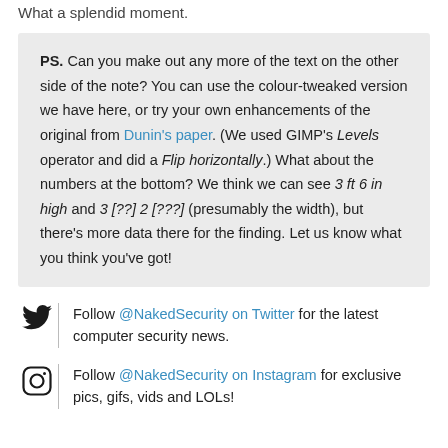What a splendid moment.
PS. Can you make out any more of the text on the other side of the note? You can use the colour-tweaked version we have here, or try your own enhancements of the original from Dunin's paper. (We used GIMP's Levels operator and did a Flip horizontally.) What about the numbers at the bottom? We think we can see 3 ft 6 in high and 3 [??] 2 [???] (presumably the width), but there's more data there for the finding. Let us know what you think you've got!
Follow @NakedSecurity on Twitter for the latest computer security news.
Follow @NakedSecurity on Instagram for exclusive pics, gifs, vids and LOLs!